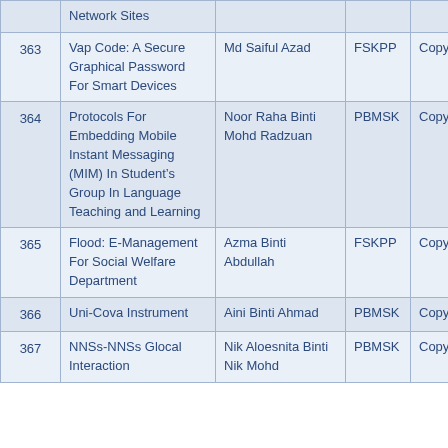| No. | Title | Author | Faculty | Status | Type |
| --- | --- | --- | --- | --- | --- |
| 363 | Vap Code: A Secure Graphical Password For Smart Devices | Md Saiful Azad | FSKPP | Copyright | Copy |
| 364 | Protocols For Embedding Mobile Instant Messaging (MIM) In Student's Group In Language Teaching and Learning | Noor Raha Binti Mohd Radzuan | PBMSK | Copyright | Copy |
| 365 | Flood: E-Management For Social Welfare Department | Azma Binti Abdullah | FSKPP | Copyright | Copy |
| 366 | Uni-Cova Instrument | Aini Binti Ahmad | PBMSK | Copyright | Copy |
| 367 | NNSs-NNSs Glocal Interaction | Nik Aloesnita Binti Nik Mohd | PBMSK | Copyright | Copy |